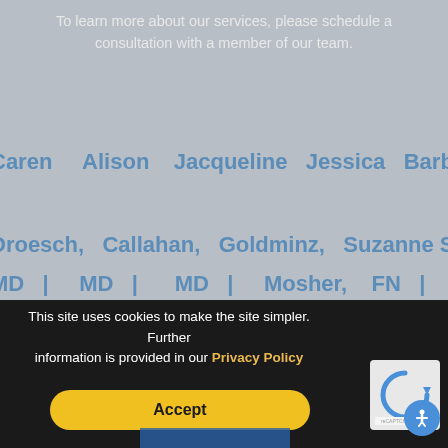To learn more about our services, please schedule a consultation with a member of our team.
Caren Droesch, MD | Alison Callahan, MD | Jacqueline Goldminz, MD | Jessica Suzanne Mosher, MD | Barbara St. John, FN | Julie Aesthe
Our office is conveniently located off of Route 9 East near the intersection of Interstate 95 / Route 128 and Route 9 in Wellesley, Massachusetts. We serve patients located in the Greater Boston area including Newton, Natick, Framingham, Needham, and Waltham.
This site uses cookies to make the site simpler. Further information is provided in our Privacy Policy
Accept